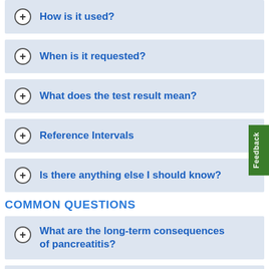+ How is it used?
+ When is it requested?
+ What does the test result mean?
+ Reference Intervals
+ Is there anything else I should know?
COMMON QUESTIONS
+ What are the long-term consequences of pancreatitis?
+ (partially visible)